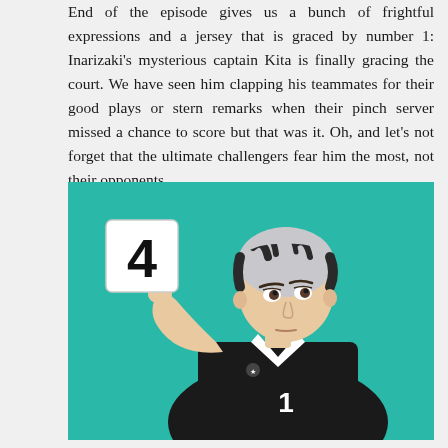End of the episode gives us a bunch of frightful expressions and a jersey that is graced by number 1: Inarizaki's mysterious captain Kita is finally gracing the court. We have seen him clapping his teammates for their good plays or stern remarks when their pinch server missed a chance to score but that was it. Oh, and let's not forget that the ultimate challengers fear him the most, not their opponents.
[Figure (illustration): Anime illustration of Kita Shinsuke from Haikyuu!!, a gray-haired volleyball player in a black jersey with number 1, holding up a substitution board with the number 4, against a teal background.]